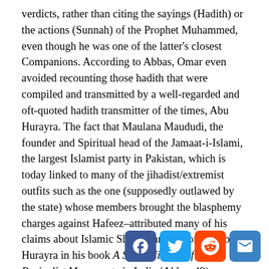verdicts, rather than citing the sayings (Hadith) or the actions (Sunnah) of the Prophet Muhammed, even though he was one of the latter's closest Companions. According to Abbas, Omar even avoided recounting those hadith that were compiled and transmitted by a well-regarded and oft-quoted hadith transmitter of the times, Abu Hurayra. The fact that Maulana Maududi, the founder and Spiritual head of the Jamaat-i-Islami, the largest Islamist party in Pakistan, which is today linked to many of the jihadist/extremist outfits such as the one (supposedly outlawed by the state) whose members brought the blasphemy charges against Hafeez–attributed many of his claims about Islamic Shariah and history to Abu Hurayra in his book A Short History of the Revivalist Movements in India (Abbas 49)—should alert us to the manipulatively dangerous uses of Islamic Sharia'h being practiced in places like Pakistan today. As we have seen countless times, and as Abbas also documents,